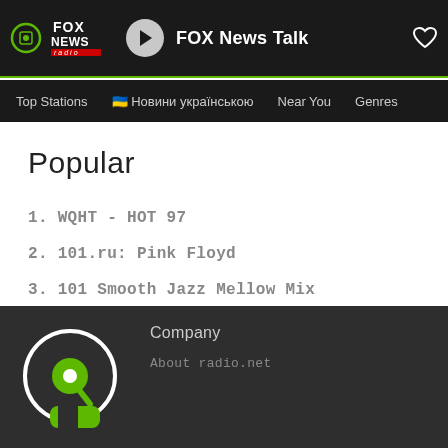FOX News Talk
Top Stations  🇺🇦 Новини українською  Near You  Genres
Popular
1. WQHT - HOT 97
2. 101.ru: Pink Floyd
3. 101 Smooth Jazz Mellow Mix
4. Black Gospel Radio
5. Classic FM
Company
About radio.net